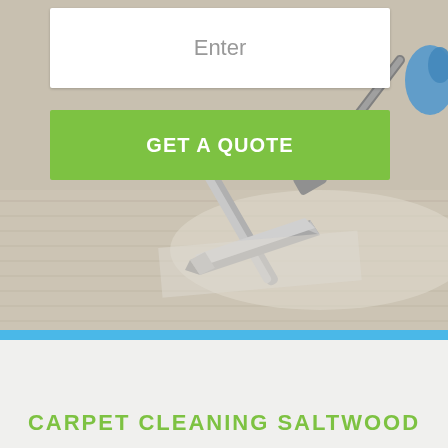[Figure (photo): Carpet cleaning machine head pressed against light beige carpet, showing steam cleaning in action. A blue gloved hand is visible at the right edge.]
Enter
GET A QUOTE
CARPET CLEANING SALTWOOD